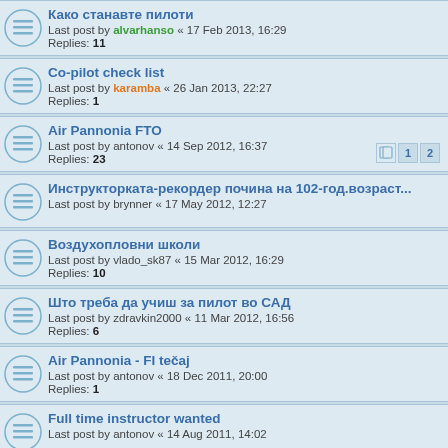Како станавте пилоти
Last post by alvarhanso « 17 Feb 2013, 16:29
Replies: 11
Co-pilot check list
Last post by karamba « 26 Jan 2013, 22:27
Replies: 1
Air Pannonia FTO
Last post by antonov « 14 Sep 2012, 16:37
Replies: 23
Инструкторката-рекордер почина на 102-год.возраст...
Last post by brynner « 17 May 2012, 12:27
Воздухопловни школи
Last post by vlado_sk87 « 15 Mar 2012, 16:29
Replies: 10
Што треба да учиш за пилот во САД
Last post by zdravkin2000 « 11 Mar 2012, 16:56
Replies: 6
Air Pannonia - FI tečaj
Last post by antonov « 18 Dec 2011, 20:00
Replies: 1
Full time instructor wanted
Last post by antonov « 14 Aug 2011, 14:02
***ДЗС вработува пилот***
Last post by Miksi « 04 Jul 2011, 14:14
Replies: 6
Лиценца пилоти